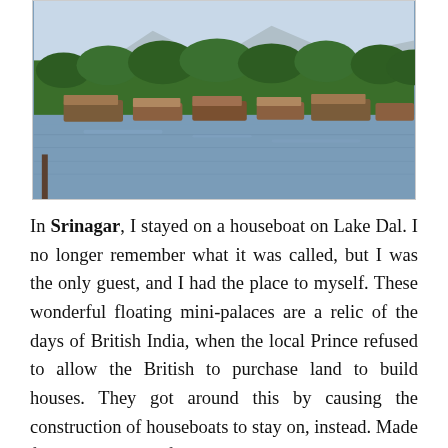[Figure (photo): A lake scene in Srinagar showing houseboats moored along the far shore of Lake Dal, with dense green trees and mountains visible in the background. The foreground is calm water reflecting the sky.]
In Srinagar, I stayed on a houseboat on Lake Dal. I no longer remember what it was called, but I was the only guest, and I had the place to myself. These wonderful floating mini-palaces are a relic of the days of British India, when the local Prince refused to allow the British to purchase land to build houses. They got around this by causing the construction of houseboats to stay on, instead. Made from wood, beautifully carved, and